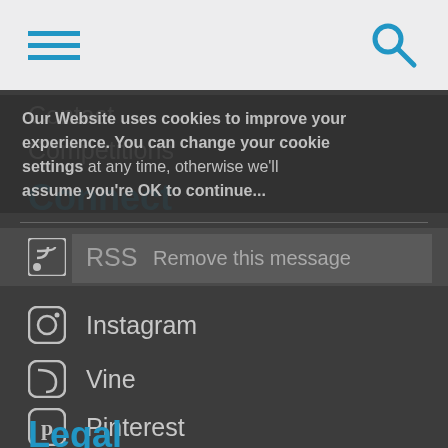[Figure (screenshot): Mobile navigation menu screenshot showing hamburger icon on the left and search icon on the right in a light gray header bar]
Our Website uses cookies to improve your experience. You can change your cookie settings at any time, otherwise we'll assume you're OK to continue...
Contact
Competitions
Connect
RSS
Instagram
Vine
Pinterest
Twitter
Linkedin
Legal